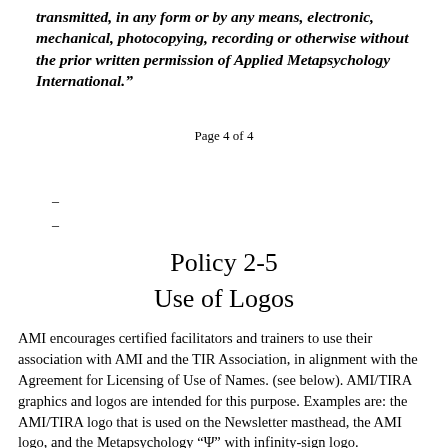transmitted, in any form or by any means, electronic, mechanical, photocopying, recording or otherwise without the prior written permission of Applied Metapsychology International."
Page 4 of 4
-
-
Policy 2-5
Use of Logos
AMI encourages certified facilitators and trainers to use their association with AMI and the TIR Association, in alignment with the Agreement for Licensing of Use of Names. (see below). AMI/TIRA graphics and logos are intended for this purpose. Examples are: the AMI/TIRA logo that is used on the Newsletter masthead, the AMI logo, and the Metapsychology "Ψ" with infinity-sign logo.